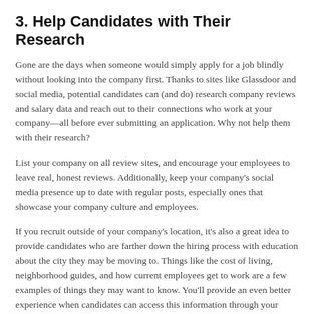3. Help Candidates with Their Research
Gone are the days when someone would simply apply for a job blindly without looking into the company first. Thanks to sites like Glassdoor and social media, potential candidates can (and do) research company reviews and salary data and reach out to their connections who work at your company—all before ever submitting an application. Why not help them with their research?
List your company on all review sites, and encourage your employees to leave real, honest reviews. Additionally, keep your company's social media presence up to date with regular posts, especially ones that showcase your company culture and employees.
If you recruit outside of your company's location, it's also a great idea to provide candidates who are farther down the hiring process with education about the city they may be moving to. Things like the cost of living, neighborhood guides, and how current employees get to work are a few examples of things they may want to know. You'll provide an even better experience when candidates can access this information through your applicant tracking software, website, or another online portal.